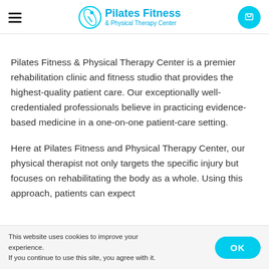Pilates Fitness & Physical Therapy Center
Pilates Fitness & Physical Therapy Center is a premier rehabilitation clinic and fitness studio that provides the highest-quality patient care. Our exceptionally well-credentialed professionals believe in practicing evidence-based medicine in a one-on-one patient-care setting.
Here at Pilates Fitness and Physical Therapy Center, our physical therapist not only targets the specific injury but focuses on rehabilitating the body as a whole. Using this approach, patients can expect
This website uses cookies to improve your experience. If you continue to use this site, you agree with it.